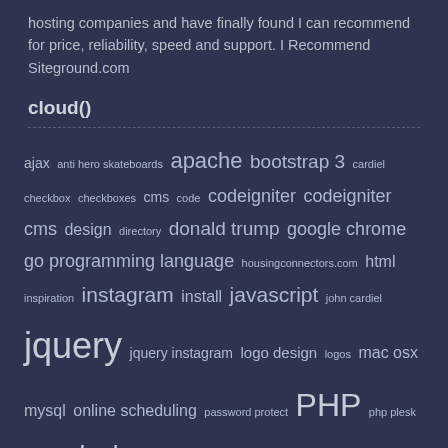hosting companies and have finally found I can recommend for price, reliability, speed and support. I Recommend Siteground.com
cloud()
ajax anti hero skateboards apache bootstrap 3 cardiel checkbox checkboxes cms code codeigniter codeigniter cms design directory donald trump google chrome go programming language housingconnectors.com html inspiration instagram install javascript john cardiel jquery jquery instagram logo design logos mac osx mysql online scheduling password protect PHP php plesk ubuntu plesk Plesk 10 remove shell skateboard ubuntu vector art vegan athletes video web manager weight loss weight management
Recent Facebook posts